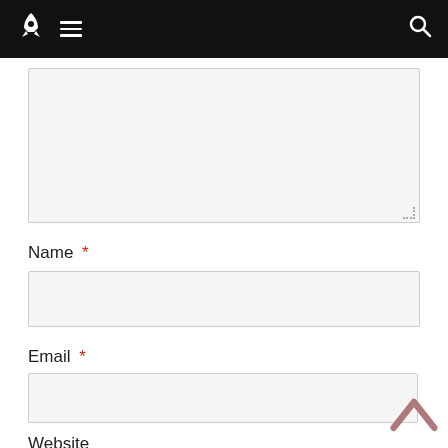Navigation bar with rocket logo, menu icon, and search icon
[Figure (screenshot): Textarea input field with light gray background and resize handle at bottom right]
Name *
[Figure (screenshot): Name text input field with light gray background]
Email *
[Figure (screenshot): Email text input field with light gray background]
Website
[Figure (screenshot): Website text input field with white background and dark border]
[Figure (other): Scroll-to-top chevron button (upward caret) in muted red/rose color at bottom right]